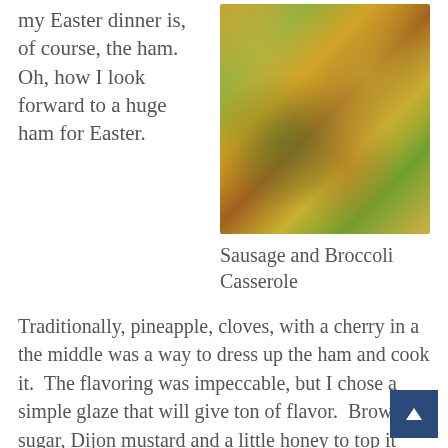my Easter dinner is, of course, the ham. Oh, how I look forward to a huge ham for Easter.
[Figure (photo): Close-up photo of Sausage and Broccoli Casserole with melted cheese on top]
Sausage and Broccoli Casserole
Traditionally, pineapple, cloves, with a cherry in a the middle was a way to dress up the ham and cook it.  The flavoring was impeccable, but I chose a simple glaze that will give ton of flavor.  Brown sugar, Dijon mustard and a little honey to top it off.  Whisk and brush over the ham. I usually start glazing the